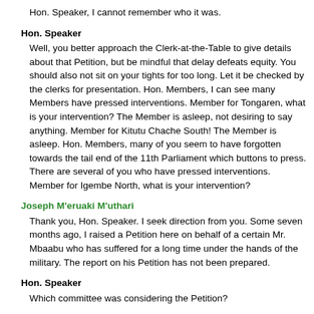Hon. Speaker, I cannot remember who it was.
Hon. Speaker
Well, you better approach the Clerk-at-the-Table to give details about that Petition, but be mindful that delay defeats equity. You should also not sit on your tights for too long. Let it be checked by the clerks for presentation. Hon. Members, I can see many Members have pressed interventions. Member for Tongaren, what is your intervention? The Member is asleep, not desiring to say anything. Member for Kitutu Chache South! The Member is asleep. Hon. Members, many of you seem to have forgotten towards the tail end of the 11th Parliament which buttons to press. There are several of you who have pressed interventions. Member for Igembe North, what is your intervention?
Joseph M'eruaki M'uthari
Thank you, Hon. Speaker. I seek direction from you. Some seven months ago, I raised a Petition here on behalf of a certain Mr. Mbaabu who has suffered for a long time under the hands of the military. The report on his Petition has not been prepared.
Hon. Speaker
Which committee was considering the Petition?